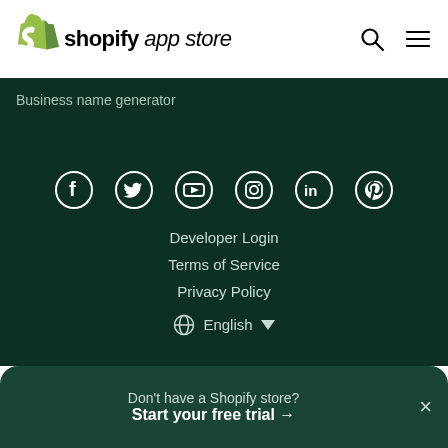Shopify app store
Business name generator
[Figure (other): Social media icons row: Facebook, Twitter, YouTube, Instagram, LinkedIn, Pinterest]
Developer Login
Terms of Service
Privacy Policy
English
Don't have a Shopify store? Start your free trial →